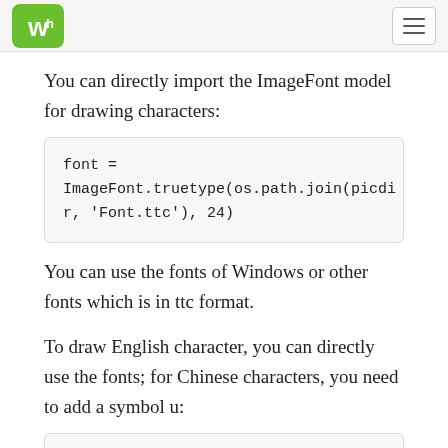waveshare logo and navigation
You can directly import the ImageFont model for drawing characters:
font = ImageFont.truetype(os.path.join(picdir, 'Font.ttc'), 24)
You can use the fonts of Windows or other fonts which is in ttc format.
To draw English character, you can directly use the fonts; for Chinese characters, you need to add a symbol u:
draw.text((8, 12), 'hello world', font = fon t, fill=255)